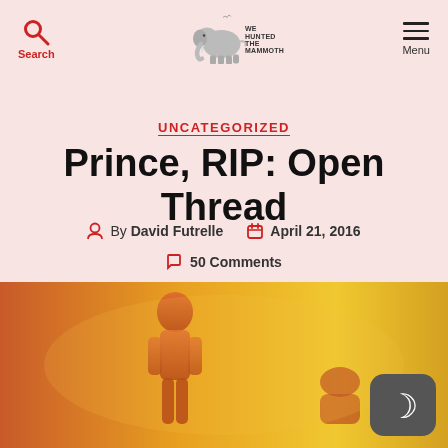Search | WE HUNTED THE MAMMOTH | Menu
UNCATEGORIZED
Prince, RIP: Open Thread
By David Futrelle   April 21, 2016
50 Comments
[Figure (photo): Colorful artistic photo with warm orange/yellow tones showing a silhouetted figure, with a dark mode toggle button in the bottom right corner]